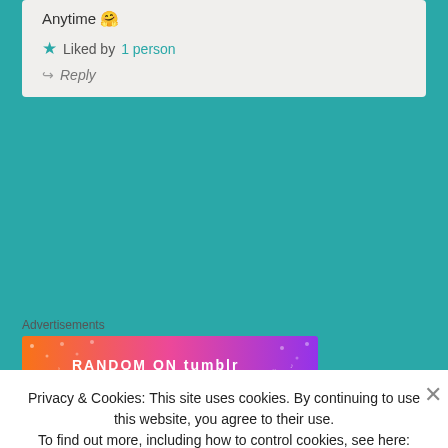Anytime 🤗
★ Liked by 1 person
↪ Reply
Advertisements
[Figure (illustration): Colorful gradient advertisement banner for 'RANDOM on tumblr' with orange to purple gradient and decorative icons]
GIRRRRRL_OF_TWO_WORLDS says:
Privacy & Cookies: This site uses cookies. By continuing to use this website, you agree to their use.
To find out more, including how to control cookies, see here: Cookie Policy
Close and accept